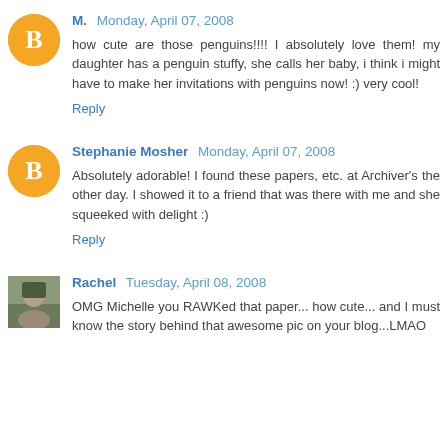M. Monday, April 07, 2008
how cute are those penguins!!!! I absolutely love them! my daughter has a penguin stuffy, she calls her baby, i think i might have to make her invitations with penguins now! :) very cool!
Reply
Stephanie Mosher Monday, April 07, 2008
Absolutely adorable! I found these papers, etc. at Archiver's the other day. I showed it to a friend that was there with me and she squeeked with delight :)
Reply
Rachel Tuesday, April 08, 2008
OMG Michelle you RAWKed that paper... how cute... and I must know the story behind that awesome pic on your blog...LMAO